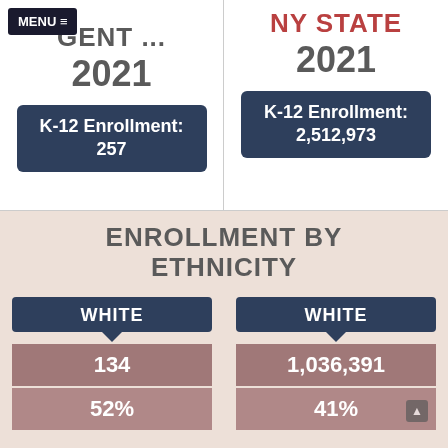MENU ≡
GENT ...
NY STATE
2021
2021
K-12 Enrollment: 257
K-12 Enrollment: 2,512,973
ENROLLMENT BY ETHNICITY
WHITE
WHITE
134
1,036,391
52%
41%